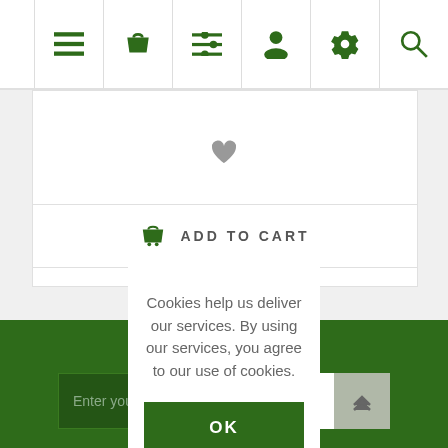[Figure (screenshot): Navigation bar with green icons: hamburger menu, shopping basket, filter list, user profile, settings gear, search magnifier]
ADD TO CART
Cookies help us deliver our services. By using our services, you agree to our use of cookies.
OK
Learn more
Newsletter
Enter your email here...